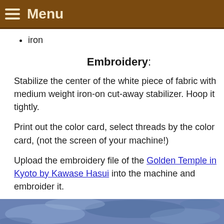Menu
iron
Embroidery:
Stabilize the center of the white piece of fabric with medium weight iron-on cut-away stabilizer. Hoop it tightly.
Print out the color card, select threads by the color card, (not the screen of your machine!)
Upload the embroidery file of the Golden Temple in Kyoto by Kawase Hasui into the machine and embroider it.
After the embroidery is done, press the stitch-out and the fabric around it.
Here are 2 stitch-outs of the design, the first one in Florian second one in Madeira threads.
[Figure (photo): Partial view of embroidered fabric in blue tones at the bottom of the page]